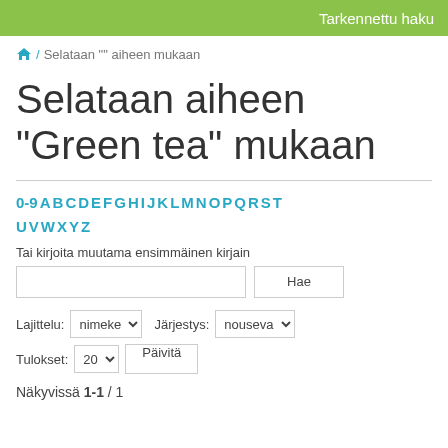Tarkennettu haku
/ Selataan "" aiheen mukaan
Selataan aiheen "Green tea" mukaan
0-9 A B C D E F G H I J K L M N O P Q R S T U V W X Y Z
Tai kirjoita muutama ensimmäinen kirjain
Hae
Lajittelu: nimeke  Järjestys: nouseva
Tulokset: 20  Päivitä
Näkyvissä 1-1 / 1